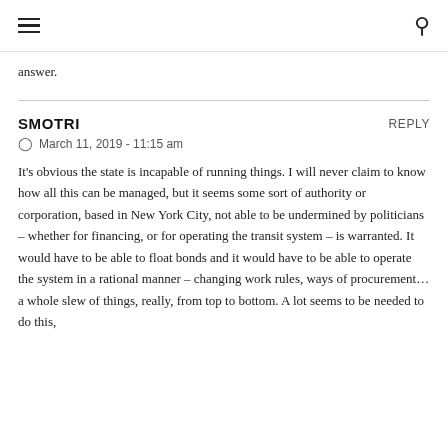≡  🔍
answer.
SMOTRI  REPLY
⊙  March 11, 2019 - 11:15 am
It's obvious the state is incapable of running things. I will never claim to know how all this can be managed, but it seems some sort of authority or corporation, based in New York City, not able to be undermined by politicians – whether for financing, or for operating the transit system – is warranted. It would have to be able to float bonds and it would have to be able to operate the system in a rational manner – changing work rules, ways of procurement…a whole slew of things, really, from top to bottom. A lot seems to be needed to do this,